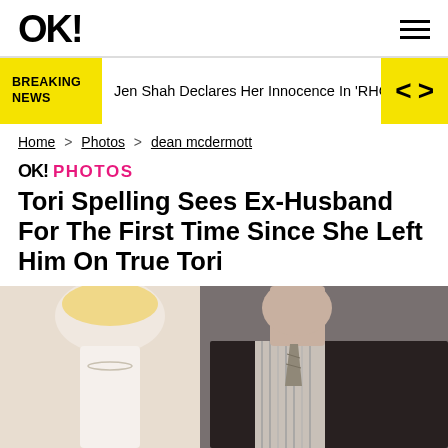OK!
BREAKING NEWS — Jen Shah Declares Her Innocence In 'RHOSL
Home > Photos > dean mcdermott
OK! PHOTOS
Tori Spelling Sees Ex-Husband For The First Time Since She Left Him On True Tori
[Figure (photo): Photo of a blonde woman (left) and a man in a dark suit (right), cropped below their faces showing necks and shoulders]